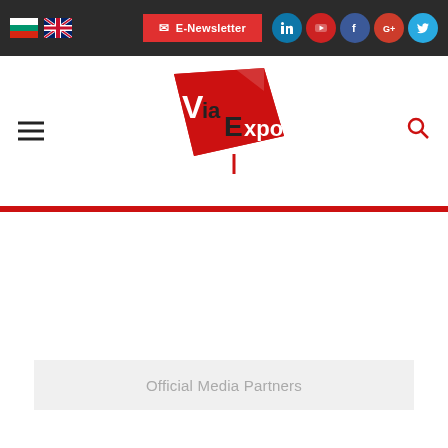[Figure (screenshot): Top navigation bar with Bulgarian and UK flags, E-Newsletter button, and social media icons (LinkedIn, YouTube, Facebook, Google+, Twitter) on dark background]
[Figure (logo): ViaExpo logo with red geometric shape and stylized text]
Official Media Partners